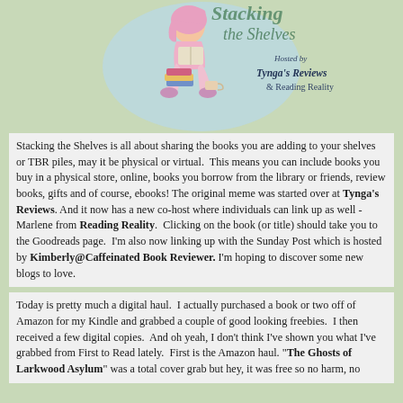[Figure (illustration): Decorative header image showing a girl reading books with text 'Hosted by Tynga's Reviews & Reading Reality' on a light teal/mint background]
Stacking the Shelves is all about sharing the books you are adding to your shelves or TBR piles, may it be physical or virtual.  This means you can include books you buy in a physical store, online, books you borrow from the library or friends, review books, gifts and of course, ebooks! The original meme was started over at Tynga's Reviews. And it now has a new co-host where individuals can link up as well - Marlene from Reading Reality.  Clicking on the book (or title) should take you to the Goodreads page.  I'm also now linking up with the Sunday Post which is hosted by Kimberly@Caffeinated Book Reviewer. I'm hoping to discover some new blogs to love.
Today is pretty much a digital haul.  I actually purchased a book or two off of Amazon for my Kindle and grabbed a couple of good looking freebies.  I then received a few digital copies.  And oh yeah, I don't think I've shown you what I've grabbed from First to Read lately.  First is the Amazon haul. "The Ghosts of Larkwood Asylum" was a total cover grab but hey, it was free so no harm, no